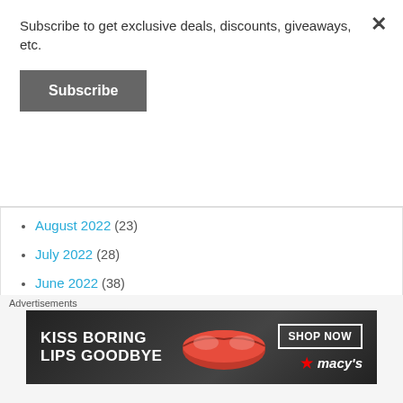Subscribe to get exclusive deals, discounts, giveaways, etc.
Subscribe
August 2022 (23)
July 2022 (28)
June 2022 (38)
May 2022 (31)
April 2022 (37)
March 2022 (24)
February 2022 (23)
Advertisements
[Figure (photo): Macy's advertisement banner: KISS BORING LIPS GOODBYE with SHOP NOW button and Macy's logo]